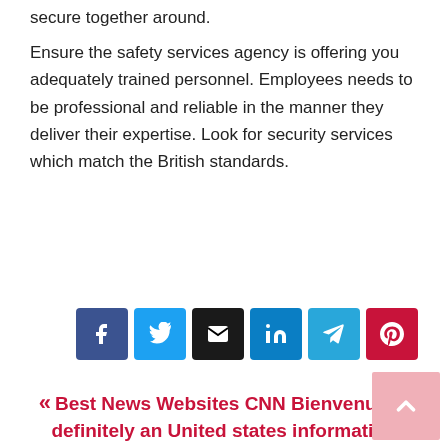secure together around.
Ensure the safety services agency is offering you adequately trained personnel. Employees needs to be professional and reliable in the manner they deliver their expertise. Look for security services which match the British standards.
[Figure (other): Social share buttons row: Facebook (blue), Twitter (light blue), Email (black), LinkedIn (blue), Telegram (cyan blue), Pinterest (red)]
« Best News Websites CNN Bienvenue!is definitely an United states information organization. »